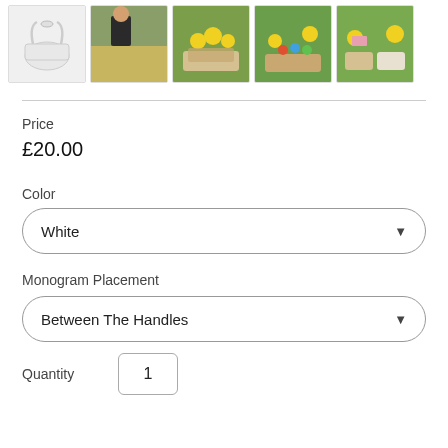[Figure (photo): Row of 5 product thumbnail images showing white wicker basket and various lifestyle shots with Easter basket scenes outdoors]
Price
£20.00
Color
White
Monogram Placement
Between The Handles
Quantity
1